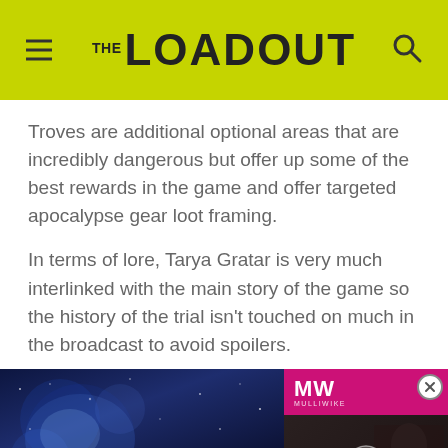THE LOADOUT
Troves are additional optional areas that are incredibly dangerous but offer up some of the best rewards in the game and offer targeted apocalypse gear loot framing.
In terms of lore, Tarya Gratar is very much interlinked with the main story of the game so the history of the trial isn't touched on much in the broadcast to avoid spoilers.
[Figure (screenshot): Embedded video advertisement showing Outriders game footage on the left with blue nebula/space visuals and text 'OUTRIDERS WORLDSLAYER', and on the right a MulliMike branded panel showing 'TACTICS CORE: REBORN RELEASE DATE' with a play button overlay and a close (X) button in the top right corner.]